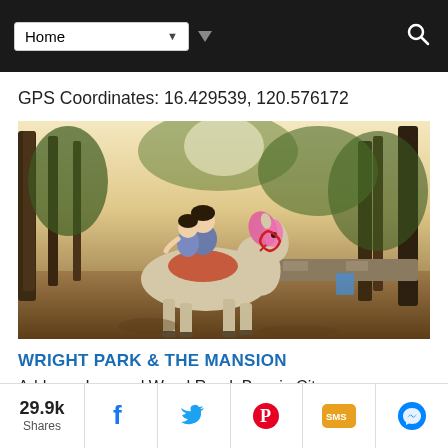Home (navigation dropdown)
GPS Coordinates: 16.429539, 120.576172
[Figure (photo): Two people riding a horse with a pink mane on a dirt path in a forested area. The horse is decorated with colorful accessories.]
WRIGHT PARK & THE MANSION
Address: Leonard Wood Road, Baguio City
Opening Hours: Always Open
29.9k Shares | Facebook | Twitter | Pinterest | SMS | Messenger